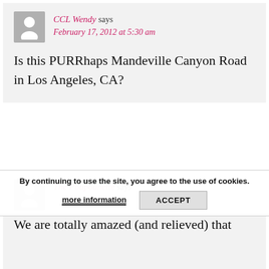CCL Wendy says
February 17, 2012 at 5:30 am
Is this PURRhaps Mandeville Canyon Road in Los Angeles, CA?
The Poupounette says
By continuing to use the site, you agree to the use of cookies.
more information
ACCEPT
We are totally amazed (and relieved) that